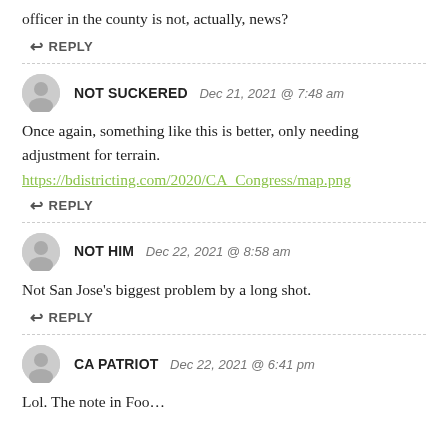officer in the county is not, actually, news?
↩ REPLY
NOT SUCKERED   Dec 21, 2021 @ 7:48 am
Once again, something like this is better, only needing adjustment for terrain.
https://bdistricting.com/2020/CA_Congress/map.png
↩ REPLY
NOT HIM   Dec 22, 2021 @ 8:58 am
Not San Jose's biggest problem by a long shot.
↩ REPLY
CA PATRIOT   Dec 22, 2021 @ 6:41 pm
Lol. The note in Foo...